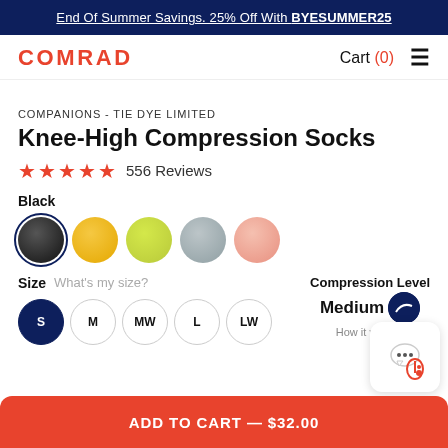End Of Summer Savings. 25% Off With BYESUMMER25
[Figure (logo): COMRAD logo in red with Cart (0) and hamburger menu]
COMPANIONS - TIE DYE LIMITED
Knee-High Compression Socks
★★★★★ 556 Reviews
Black
[Figure (illustration): Five color swatches: black (selected), yellow, green-yellow, gray, pink]
Size   What's my size?   Compression Level
[Figure (illustration): Size buttons: S (selected/filled navy), M, MW, L, LW; Compression level: Medium with navy icon]
How it works?
ADD TO CART — $32.00